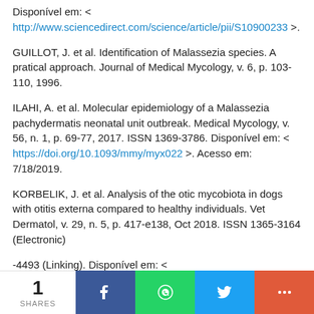Disponível em: < http://www.sciencedirect.com/science/article/pii/S10900233… >.
GUILLOT, J. et al. Identification of Malassezia species. A pratical approach. Journal of Medical Mycology, v. 6, p. 103-110, 1996.
ILAHI, A. et al. Molecular epidemiology of a Malassezia pachydermatis neonatal unit outbreak. Medical Mycology, v. 56, n. 1, p. 69-77, 2017. ISSN 1369-3786. Disponível em: < https://doi.org/10.1093/mmy/myx022 >. Acesso em: 7/18/2019.
KORBELIK, J. et al. Analysis of the otic mycobiota in dogs with otitis externa compared to healthy individuals. Vet Dermatol, v. 29, n. 5, p. 417-e138, Oct 2018. ISSN 1365-3164 (Electronic)
-4493 (Linking). Disponível em: < https://www.ncbi.nlm.nih.gov/pubmed/30088292 >.
1 SHARES | Facebook | WhatsApp | Twitter | More